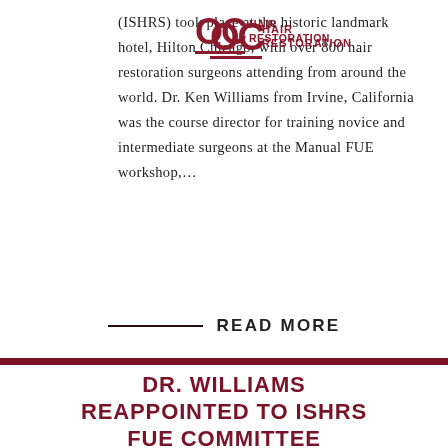[Figure (logo): OC Hair Restoration logo overlaid on text]
(ISHRS) took place at the historic landmark hotel, Hilton Chicago, with over 800 hair restoration surgeons attending from around the world. Dr. Ken Williams from Irvine, California was the course director for training novice and intermediate surgeons at the Manual FUE workshop,…
— READ MORE
DR. WILLIAMS REAPPOINTED TO ISHRS FUE COMMITTEE
May 24, 2019  Dr. Ken L. Williams  Blog, In The News